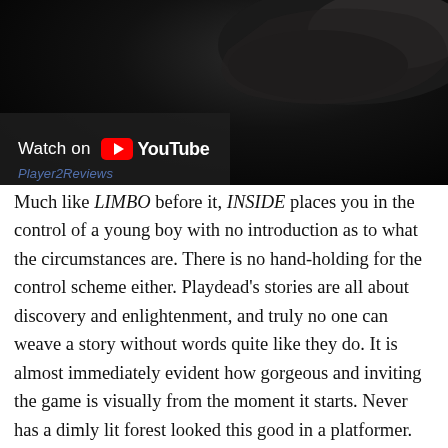[Figure (screenshot): A dark video thumbnail showing a dimly lit rocky scene, with a 'Watch on YouTube' overlay in the lower left corner and a partially visible channel name below it.]
Much like LIMBO before it, INSIDE places you in the control of a young boy with no introduction as to what the circumstances are. There is no hand-holding for the control scheme either. Playdead's stories are all about discovery and enlightenment, and truly no one can weave a story without words quite like they do. It is almost immediately evident how gorgeous and inviting the game is visually from the moment it starts. Never has a dimly lit forest looked this good in a platformer. Taking in the peaceful scene is all too brief, as danger draws closer and your platforming skills get tested. Running, jumping, climbing, swinging, and pushing are the basic ingredients for a platformer, and they are all masterfully executed in the title. The boys physical appearance and motions have a weight and body to it that you can feel, making each movement feel incredibly accurate and proportionate to the character. Even his general